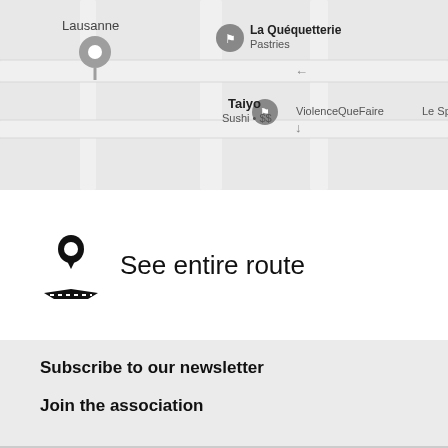[Figure (map): Google Maps screenshot showing Lausanne area with location pins for La Quéquetterie Pastries, Taiyo Sushi, ViolenceQueFaire, and Le Sp. A grey location pin is visible on the left.]
See entire route
Subscribe to our newsletter
Join the association